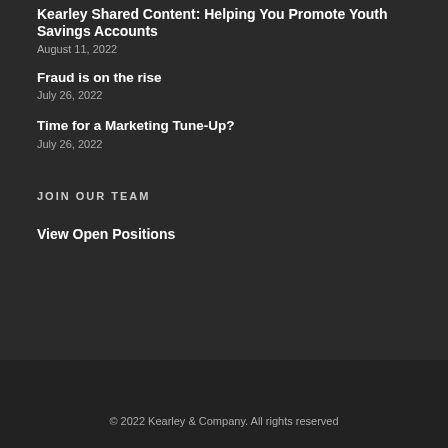Kearley Shared Content: Helping You Promote Youth Savings Accounts
August 11, 2022
Fraud is on the rise
July 26, 2022
Time for a Marketing Tune-Up?
July 26, 2022
JOIN OUR TEAM
View Open Positions
© 2022 Kearley & Company. All rights reserved